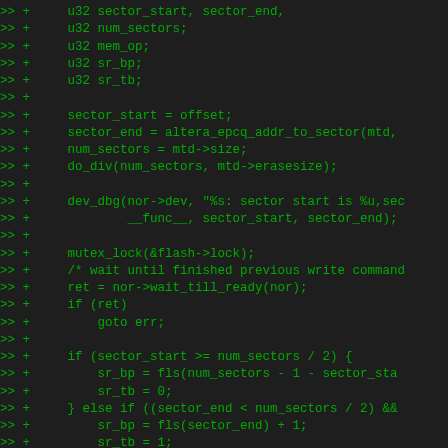Code diff showing C source additions with >> + prefix markers, including variable declarations (u32 sector_start, sector_end, num_sectors, mem_op, sr_bp, sr_tb), assignments, function calls (altera_epcq_addr_to_sector, do_div, dev_dbg, mutex_lock, nor->wait_till_ready), and conditional logic for sector_start/sector_end comparisons.